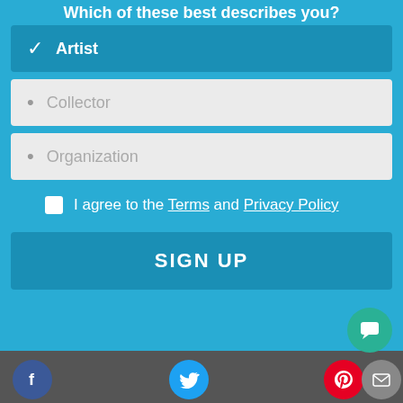Which of these best describes you?
Artist (selected)
Collector
Organization
I agree to the Terms and Privacy Policy
SIGN UP
Social icons: Facebook, Twitter, Pinterest, Email